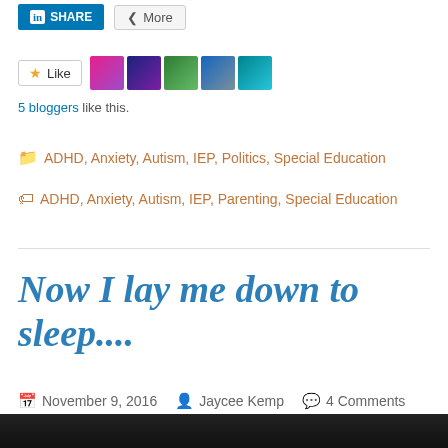[Figure (screenshot): LinkedIn Share button and More button in share bar]
[Figure (screenshot): Like button with 5 blogger avatar thumbnails]
5 bloggers like this.
ADHD, Anxiety, Autism, IEP, Politics, Special Education
ADHD, Anxiety, Autism, IEP, Parenting, Special Education
Now I lay me down to sleep....
November 9, 2016  Jaycee Kemp  4 Comments
[Figure (photo): Dark image thumbnail at bottom of page]